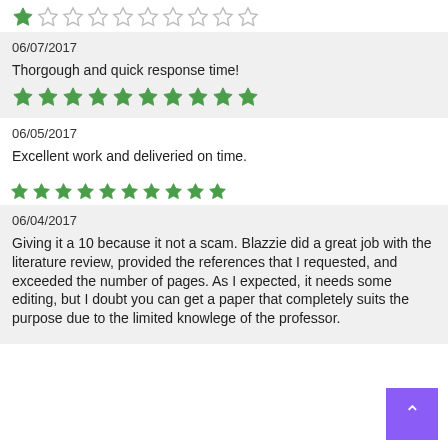[Figure (other): 1 out of 10 stars rating row — 1 filled green star, 9 empty stars]
06/07/2017
Thorgough and quick response time!
[Figure (other): 10 out of 10 stars rating row — all filled green stars]
06/05/2017
Excellent work and deliveried on time.
[Figure (other): 10 out of 10 stars rating row — all filled green stars]
06/04/2017
Giving it a 10 because it not a scam. Blazzie did a great job with the literature review, provided the references that I requested, and exceeded the number of pages. As I expected, it needs some editing, but I doubt you can get a paper that completely suits the purpose due to the limited knowlege of the professor.